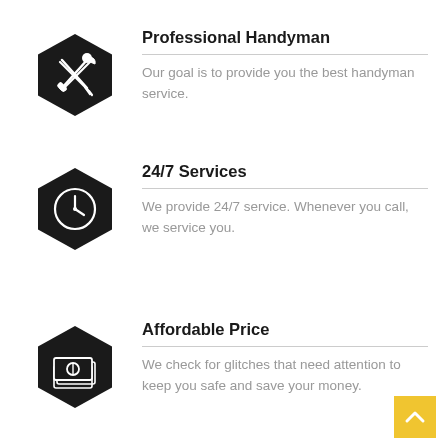[Figure (illustration): Black hexagon icon with crossed wrench and screwdriver tools]
Professional Handyman
Our goal is to provide you the best handyman service.
[Figure (illustration): Black hexagon icon with a clock/time symbol]
24/7 Services
We provide 24/7 service. Whenever you call, we service you.
[Figure (illustration): Black hexagon icon with stacked banknotes/money]
Affordable Price
We check for glitches that need attention to keep you safe and save your money.